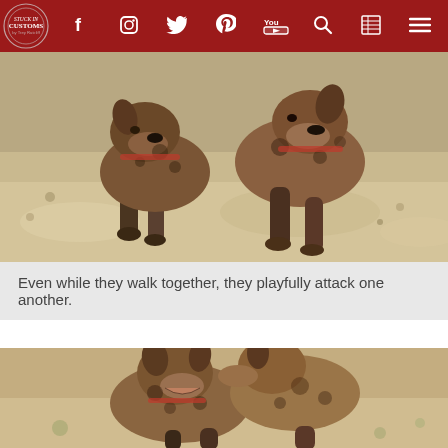Stuck in Customs - navigation header with social icons
[Figure (photo): Two African wild dogs walking toward the camera on a sandy ground, photographed from a low angle. The dogs are mottled brown, tan and black, mouths open, appearing to playfully interact while walking.]
Even while they walk together, they playfully attack one another.
[Figure (photo): Two African wild dogs engaged in play-fighting, one biting at the neck/head of the other. Sandy ground with sparse vegetation visible in the background.]